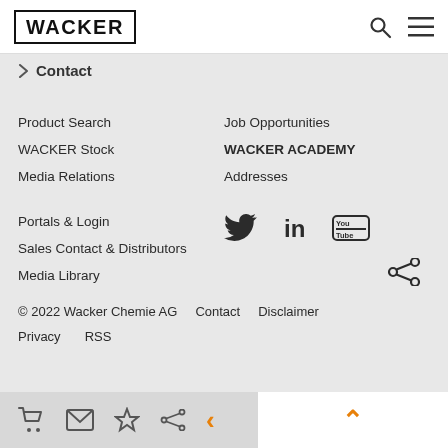[Figure (logo): WACKER logo in bold black text with rectangular border]
Contact
Product Search
Job Opportunities
WACKER Stock
WACKER ACADEMY
Media Relations
Addresses
Portals & Login
Sales Contact & Distributors
Media Library
[Figure (illustration): Twitter bird icon]
[Figure (illustration): LinkedIn 'in' icon]
[Figure (illustration): YouTube icon]
[Figure (illustration): Share icon]
© 2022 Wacker Chemie AG   Contact   Disclaimer   Privacy   RSS